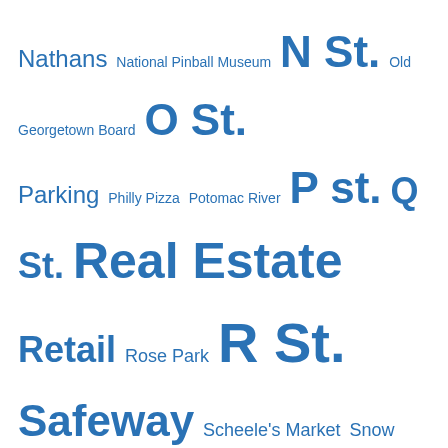Nathans National Pinball Museum N St. Old Georgetown Board O St. Parking Philly Pizza Potomac River P st. Q St. Real Estate Retail Rose Park R St. Safeway Scheele's Market Snow Social Safeway Streetcars Town and Gown Traffic Transit Transportation Trees Tudor Place Washington Harbour Waterfront Water St. West Heating Plant Wisconsin Ave. WMATA Zoning
Etc.
Privacy & Cookies: This site uses cookies. By continuing to use this website, you agree to their use.
To find out more, including how to control cookies, see here: Cookie Policy
Close and accept